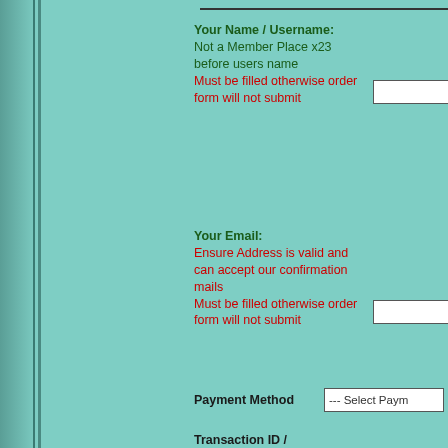Your Name / Username:
Not a Member Place x23 before users name
Must be filled otherwise order form will not submit
Your Email:
Ensure Address is valid and can accept our confirmation mails
Must be filled otherwise order form will not submit
Payment Method
Transaction ID / Batch Number: